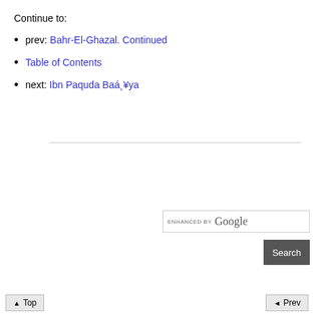Continue to:
prev: Bahr-El-Ghazal. Continued
Table of Contents
next: Ibn Paquda Baá¸¥ya
[Figure (other): Google enhanced search box with Search button]
Top  Prev